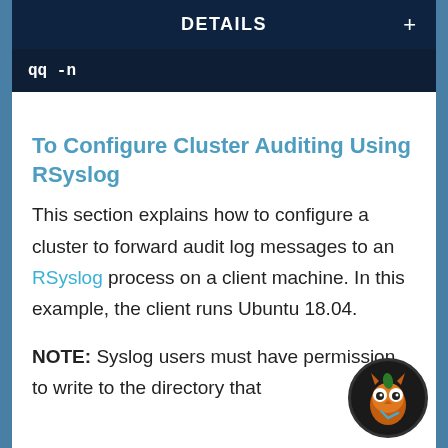DETAILS
qq  -n
To Configure Cluster Auditing Using RSyslog
This section explains how to configure a cluster to forward audit log messages to an RSyslog process on a client machine. In this example, the client runs Ubuntu 18.04.
NOTE: Syslog users must have permission to write to the directory that